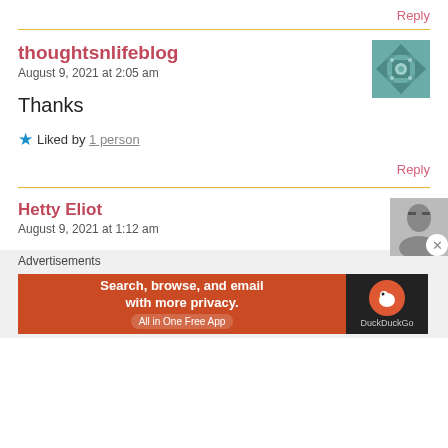Reply
thoughtsnlifeblog
August 9, 2021 at 2:05 am
Thanks
Liked by 1 person
Reply
Hetty Eliot
August 9, 2021 at 1:12 am
Advertisements
[Figure (screenshot): DuckDuckGo advertisement banner: Search, browse, and email with more privacy. All in One Free App. DuckDuckGo logo on dark background.]